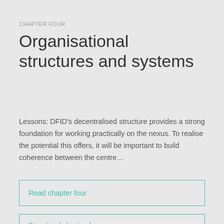CHAPTER FOUR
Organisational structures and systems
Lessons: DFID's decentralised structure provides a strong foundation for working practically on the nexus. To realise the potential this offers, it will be important to build coherence between the centre...
Read chapter four
Download chapter four
English | PDF 1.4MB